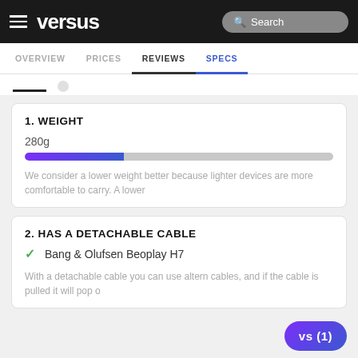versus — Search — OVERVIEW | PRICES | REVIEWS | SPECS
1. WEIGHT
[Figure (other): Horizontal progress bar showing 280g weight, approximately 32% filled with blue-purple gradient on grey background]
We consider a lower weight better because lighter devices are more comfortable to carry. A lower
2. HAS A DETACHABLE CABLE
Bang & Olufsen Beoplay H7
With a detachable cable you can use altern cables, and if the cable is pulled it will pop o